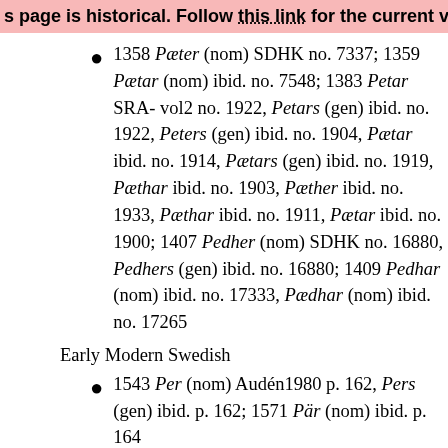s page is historical. Follow this link for the current vers
1358 Pæter (nom) SDHK no. 7337; 1359 Pætar (nom) ibid. no. 7548; 1383 Petar SRA-vol2 no. 1922, Petars (gen) ibid. no. 1922, Peters (gen) ibid. no. 1904, Pætar ibid. no. 1914, Pætars (gen) ibid. no. 1919, Pæthar ibid. no. 1903, Pæther ibid. no. 1933, Pæthar ibid. no. 1911, Pætar ibid. no. 1900; 1407 Pedher (nom) SDHK no. 16880, Pedhers (gen) ibid. no. 16880; 1409 Pedhar (nom) ibid. no. 17333, Pædhar (nom) ibid. no. 17265
Early Modern Swedish
1543 Per (nom) Audén1980 p. 162, Pers (gen) ibid. p. 162; 1571 Pär (nom) ibid. p. 164